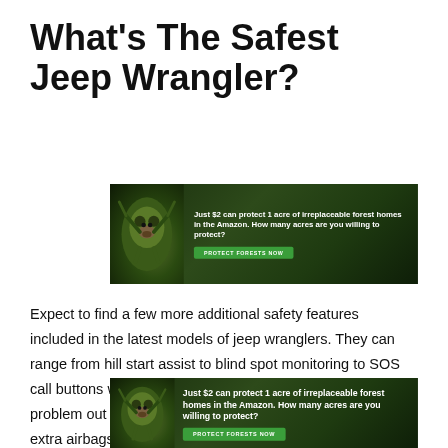What's The Safest Jeep Wrangler?
[Figure (infographic): Advertisement banner: dark forest background with a sloth image on the left. Text reads 'Just $2 can protect 1 acre of irreplaceable forest homes in the Amazon. How many acres are you willing to protect?' with a green 'PROTECT FORESTS NOW' button.]
Expect to find a few more additional safety features included in the latest models of jeep wranglers. They can range from hill start assist to blind spot monitoring to SOS call buttons which are particularly handy if you run into a problem out in the wilds. Newer models also incorporate extra airbags which provide advanced front and side protection plus side panels strengthened with steel and trailer sway control if you're towing. Though arguably, the safest jeep wrangler could be the one you don't take off-roading, but leave at home parked
[Figure (infographic): Second advertisement banner (partially visible): dark forest background with a sloth image on the left. Text reads 'Just $2 can protect 1 acre of irreplaceable forest homes in the Amazon. How many acres are you willing to protect?' with a green 'PROTECT FORESTS NOW' button.]